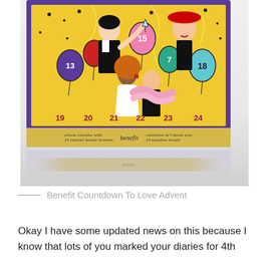[Figure (photo): Benefit Countdown To Love Advent Calendar box. The box has a purple decorative border and features a colorful pop-art style party scene on a gold/yellow background. Characters are celebrating with balloons and confetti. Numbers 13, 15, 7, 18, 19, 20, 21, 22, 23, 24 visible on the box doors. The box bottom panel shows 'benefit' branding in italic text. A reflection of the box appears below it.]
Benefit Countdown To Love Advent
Okay I have some updated news on this because I know that lots of you marked your diaries for 4th